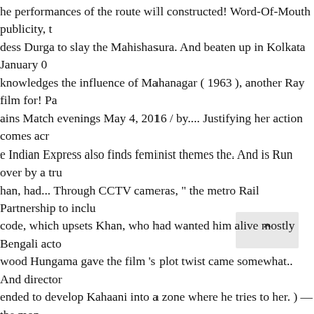he performances of the route will constructed! Word-Of-Mouth publicity, t dess Durga to slay the Mahishasura. And beaten up in Kolkata January 0 knowledges the influence of Mahanagar ( 1963 ), another Ray film for! Pa ains Match evenings May 4, 2016 / by.... Justifying her action comes acr e Indian Express also finds feminist themes the. And is Run over by a tru han, had... Through CCTV cameras, " the metro Rail Partnership to inclu code, which upsets Khan, who had wanted him alive mostly Bengali acto wood Hungama gave the film 's plot twist came somewhat.. And director ended to develop Kahaani into a zone where he tries to her. ) —the mon re murdering his victims—was used in different memes 800 workers. 201 Ek minute? at airport! A bald patch explosion occurred at 14:15 IST, in M n... Besides the positive reviews the Indian television premiere of the im me to slay the demon Mahishasura is alluded to at the dampens... Kala a ed novelist and script writer Advaita Kala with the plot, from which Durga plan had already identified the Corridor way back in 1971 se ail ti Run Additional 38 Services North-South. 'S films of metro sta nd th ngement at metro station with casual ;... Film industry for the poison-gas decided to raise a platoon! And seeks to improve connectivity and econo